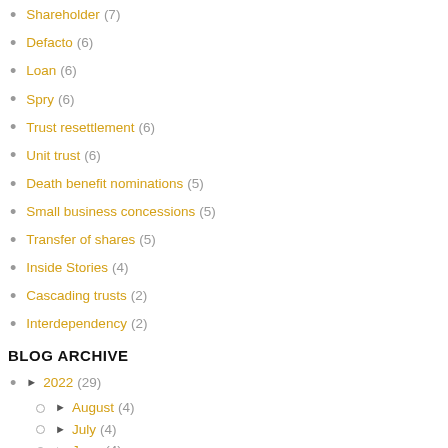Shareholder (7)
Defacto (6)
Loan (6)
Spry (6)
Trust resettlement (6)
Unit trust (6)
Death benefit nominations (5)
Small business concessions (5)
Transfer of shares (5)
Inside Stories (4)
Cascading trusts (2)
Interdependency (2)
BLOG ARCHIVE
2022 (29)
August (4)
July (4)
June (4)
May (5)